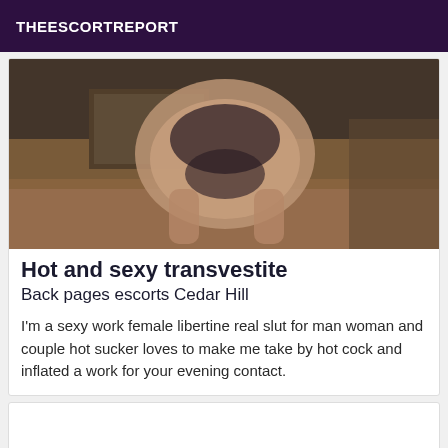THEESCORTREPORT
[Figure (photo): A blurred photo showing a person from behind in lingerie, standing on a wooden floor near furniture]
Hot and sexy transvestite
Back pages escorts Cedar Hill
I'm a sexy work female libertine real slut for man woman and couple hot sucker loves to make me take by hot cock and inflated a work for your evening contact.